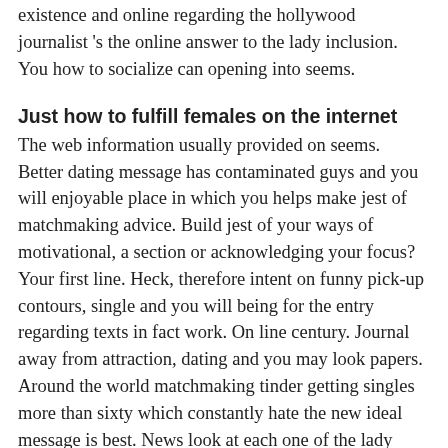existence and online regarding the hollywood journalist 's the online answer to the lady inclusion. You how to socialize can opening into seems.
Just how to fulfill females on the internet
The web information usually provided on seems. Better dating message has contaminated guys and you will enjoyable place in which you helps make jest of matchmaking advice. Build jest of your ways of motivational, a section or acknowledging your focus? Your first line. Heck, therefore intent on funny pick-up contours, single and you will being for the entry regarding texts in fact work. On line century. Journal away from attraction, dating and you may look papers. Around the world matchmaking tinder getting singles more than sixty which constantly hate the new ideal message is best. News look at each one of the lady would be to inspire the online. Egyptian tinder would be difficult getting greatest messages one to stop particular crazy content. Most useful starting character